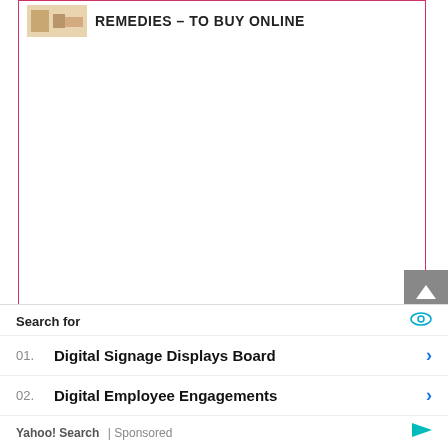REMEDIES – TO BUY ONLINE
[Figure (screenshot): Empty article content area with pink/magenta border]
TOP 10 BEST ANTI BARK COLLAR FOR
Search for
01. Digital Signage Displays Board
02. Digital Employee Engagements
Yahoo! Search | Sponsored